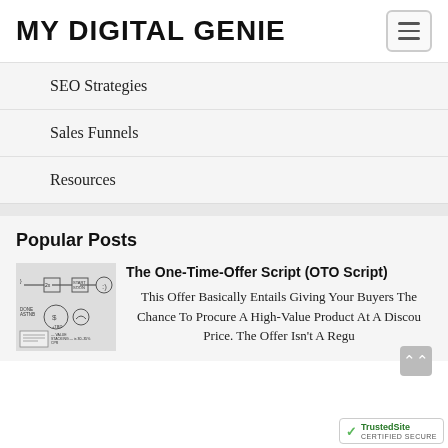MY DIGITAL GENIE
SEO Strategies
Sales Funnels
Resources
Popular Posts
The One-Time-Offer Script (OTO Script)
This Offer Basically Entails Giving Your Buyers The Chance To Procure A High-Value Product At A Discou Price. The Offer Isn't A Regu